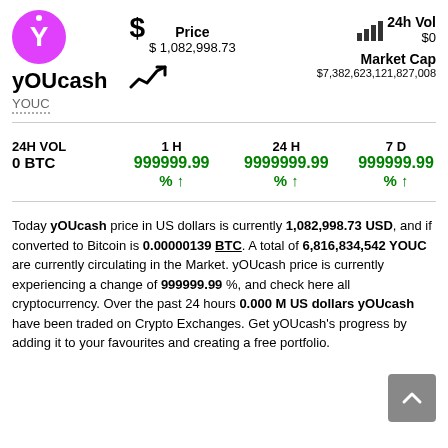[Figure (logo): yOUcash circular logo with magenta/pink background and white Y letter]
yOUcash YOUC
Price $1,082,998.73
24h Vol $0
Market Cap $7,382,623,121,827,008
| 24H VOL | 1 H | 24 H | 7 D |
| --- | --- | --- | --- |
| 0 BTC | 999999.99 % ↑ | 9999999.99 % ↑ | 999999.99 % ↑ |
Today yOUcash price in US dollars is currently 1,082,998.73 USD, and if converted to Bitcoin is 0.00000139 BTC. A total of 6,816,834,542 YOUC are currently circulating in the Market. yOUcash price is currently experiencing a change of 999999.99 %, and check here all cryptocurrency. Over the past 24 hours 0.000 M US dollars yOUcash have been traded on Crypto Exchanges. Get yOUcash's progress by adding it to your favourites and creating a free portfolio.